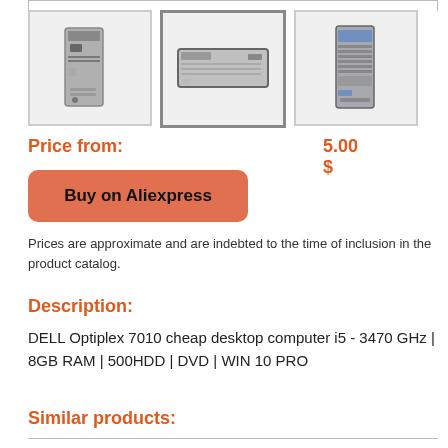[Figure (photo): Three thumbnail images of a Dell Optiplex 7010 desktop computer from different angles: front/side view (tower), side/flat view, and back/side view]
Price from:
5.00 $
Buy on Aliexpress
Prices are approximate and are indebted to the time of inclusion in the product catalog.
Description:
DELL Optiplex 7010 cheap desktop computer i5 - 3470 GHz | 8GB RAM | 500HDD | DVD | WIN 10 PRO
Similar products: